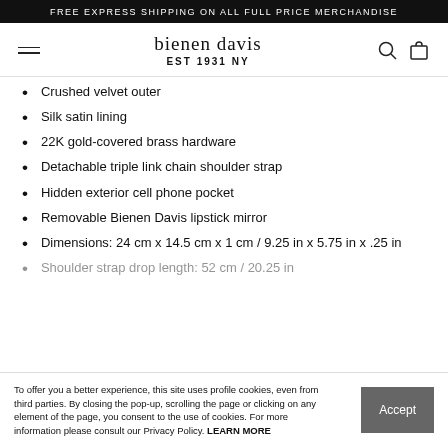FREE EXPRESS SHIPPING ON ALL FULL PRICE MERCHANDISE
[Figure (logo): Bienen Davis EST 1931 NY logo with hamburger menu, search icon, and bag icon]
Crushed velvet outer
Silk satin lining
22K gold-covered brass hardware
Detachable triple link chain shoulder strap
Hidden exterior cell phone pocket
Removable Bienen Davis lipstick mirror
Dimensions: 24 cm x 14.5 cm x 1 cm / 9.25 in x 5.75 in x .25 in
Shoulder strap drop length: 52 cm / 20.25 in
To offer you a better experience, this site uses profile cookies, even from third parties. By closing the pop-up, scrolling the page or clicking on any element of the page, you consent to the use of cookies. For more information please consult our Privacy Policy. LEARN MORE